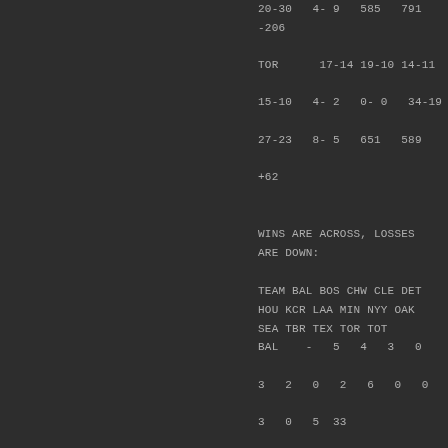20-30   4- 9   585   791
-206
TOR       17-14 19-10 14-11
15-10   4- 2   0- 0   34-19
27-23   8- 5   651   589
+62
WINS ARE ACROSS, LOSSES ARE DOWN:
TEAM BAL BOS CHW CLE DET
HOU KCR LAA MIN NYY OAK
SEA TBR TEX TOR TOT
BAL    -   5   4   3   0
3   2   0   2   6   0   0
3   0   5  33
BOS    7   -   2   3   0
5   3   3   1   5   2   1
3   0   6  41
CHW   2   1       8   9